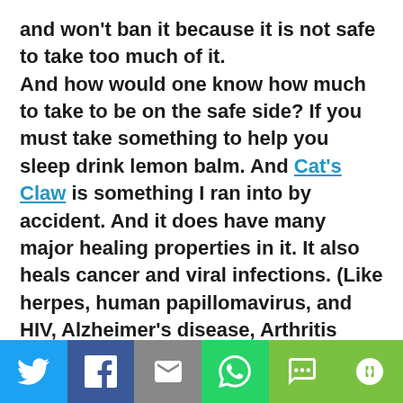and won't ban it because it is not safe to take too much of it.

And how would one know how much to take to be on the safe side? If you must take something to help you sleep drink lemon balm. And Cat's Claw is something I ran into by accident. And it does have many major healing properties in it. It also heals cancer and viral infections. (Like herpes, human papillomavirus, and HIV, Alzheimer's disease, Arthritis
Twitter | Facebook | Email | WhatsApp | SMS | More